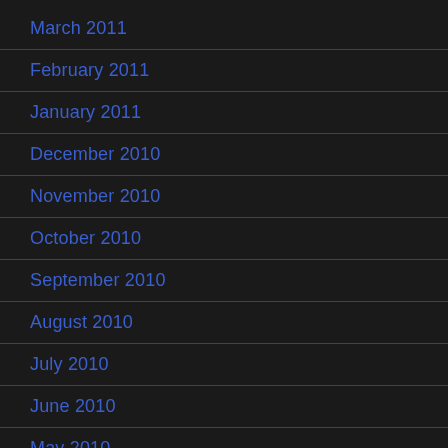March 2011
February 2011
January 2011
December 2010
November 2010
October 2010
September 2010
August 2010
July 2010
June 2010
May 2010